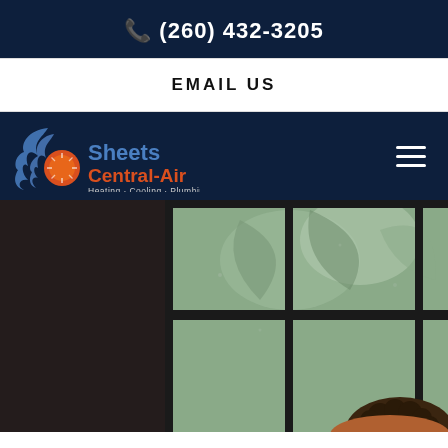📞 (260) 432-3205
EMAIL US
[Figure (logo): Sheets Central-Air logo with flame and sun icon, text reads: Sheets Central-Air, Heating · Cooling · Plumbing]
[Figure (photo): Person looking out a large multi-pane window with plants visible outside, photographed from behind/side]